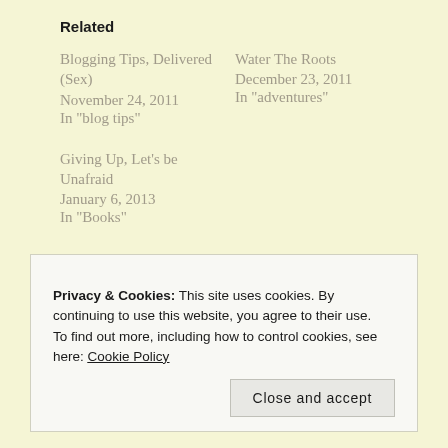Related
Blogging Tips, Delivered (Sex)
November 24, 2011
In "blog tips"
Water The Roots
December 23, 2011
In "adventures"
Giving Up, Let's be Unafraid
January 6, 2013
In "Books"
Privacy & Cookies: This site uses cookies. By continuing to use this website, you agree to their use.
To find out more, including how to control cookies, see here: Cookie Policy
Close and accept